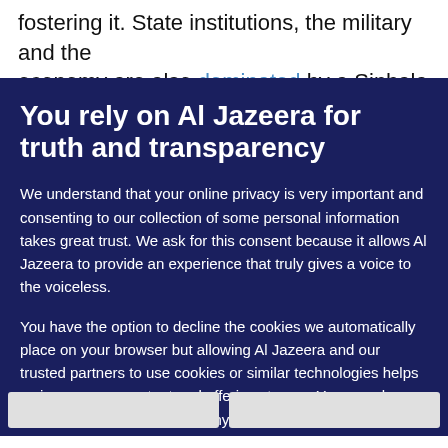fostering it. State institutions, the military and the economy are also dominated by a Sinhala
You rely on Al Jazeera for truth and transparency
We understand that your online privacy is very important and consenting to our collection of some personal information takes great trust. We ask for this consent because it allows Al Jazeera to provide an experience that truly gives a voice to the voiceless.
You have the option to decline the cookies we automatically place on your browser but allowing Al Jazeera and our trusted partners to use cookies or similar technologies helps us improve our content and offerings to you. You can change your privacy preferences at any time by selecting 'Cookie preferences' at the bottom of your screen. To learn more, please view our Cookie Policy.